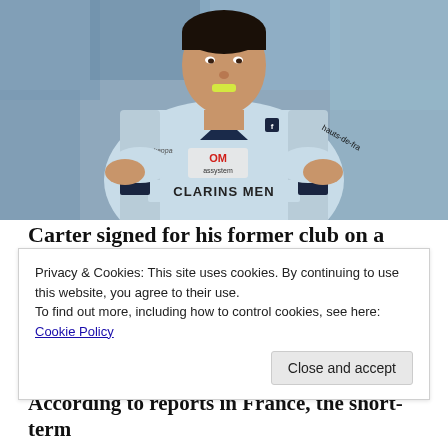[Figure (photo): Rugby player wearing a light blue Racing 92 jersey with sponsors including Assystem, Kappa, Clarins Men, and hauts-de-France. The player has a gum shield in his mouth and has his hands on his hips.]
Carter signed for his former club on a medical
Privacy & Cookies: This site uses cookies. By continuing to use this website, you agree to their use.
To find out more, including how to control cookies, see here: Cookie Policy
Close and accept
According to reports in France, the short-term